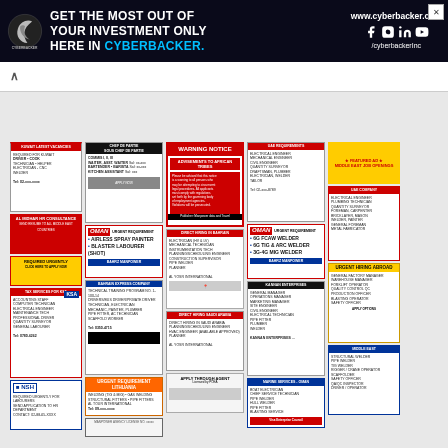[Figure (illustration): Cyberbacker advertisement banner: dark background with logo on left, bold white text 'GET THE MOST OUT OF YOUR INVESTMENT ONLY HERE IN CYBERBACKER.' with 'CYBERBACKER.' in cyan, social media icons and URL www.cyberbacker.com on right]
[Figure (other): Newspaper classifieds page showing multiple job advertisement columns for Kuwait, Oman, Saudi Arabia and other Middle East destinations with various job listings for welders, painters, kitchen staff, drivers, etc.]